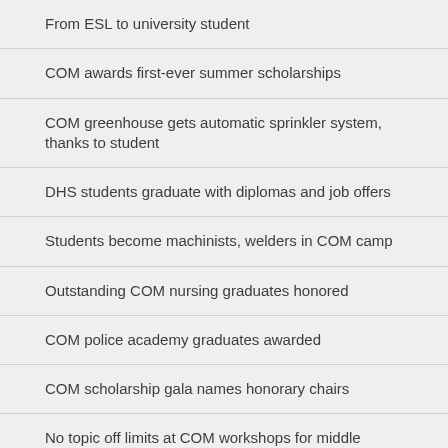From ESL to university student
COM awards first-ever summer scholarships
COM greenhouse gets automatic sprinkler system, thanks to student
DHS students graduate with diplomas and job offers
Students become machinists, welders in COM camp
Outstanding COM nursing graduates honored
COM police academy graduates awarded
COM scholarship gala names honorary chairs
No topic off limits at COM workshops for middle